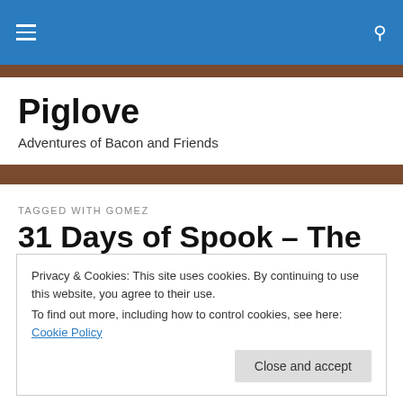Piglove – Adventures of Bacon and Friends
TAGGED WITH GOMEZ
31 Days of Spook – The Addams Family
Privacy & Cookies: This site uses cookies. By continuing to use this website, you agree to their use.
To find out more, including how to control cookies, see here: Cookie Policy
Close and accept